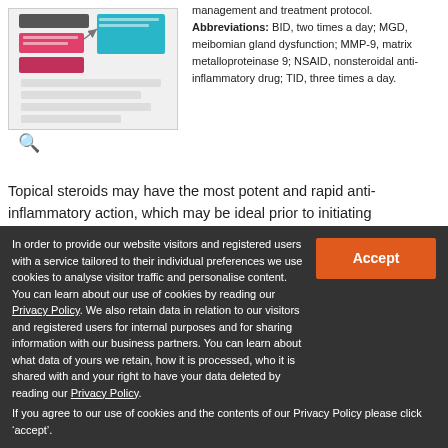[Figure (flowchart): Medical management and treatment protocol flowchart with colored boxes and arrows]
management and treatment protocol. Abbreviations: BID, two times a day; MGD, meibomian gland dysfunction; MMP-9, matrix metalloproteinase 9; NSAID, nonsteroidal anti-inflammatory drug; TID, three times a day.
Topical steroids may have the most potent and rapid anti-inflammatory action, which may be ideal prior to initiating cyclosporine to reduce the stingµ53 and for ocular surface optimization prior to obtaining kerotometry, aberrometry, and biometry. Long-term steroid treatment is not advisable
In order to provide our website visitors and registered users with a service tailored to their individual preferences we use cookies to analyse visitor traffic and personalise content. You can learn about our use of cookies by reading our Privacy Policy. We also retain data in relation to our visitors and registered users for internal purposes and for sharing information with our business partners. You can learn about what data of yours we retain, how it is processed, who it is shared with and your right to have your data deleted by reading our Privacy Policy.
If you agree to our use of cookies and the contents of our Privacy Policy please click ‘accept’.